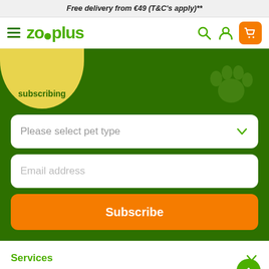Free delivery from €49 (T&C's apply)**
[Figure (logo): zooplus logo with hamburger menu and navigation icons including search, user, and orange cart button]
subscribing
Please select pet type
Email address
Subscribe
Services
Advantages